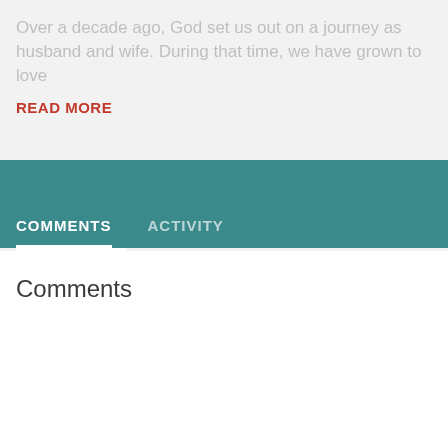Over a decade ago, God set us out on a journey as husband and wife. During that time, we have grown to love
READ MORE
COMMENTS   ACTIVITY
Comments